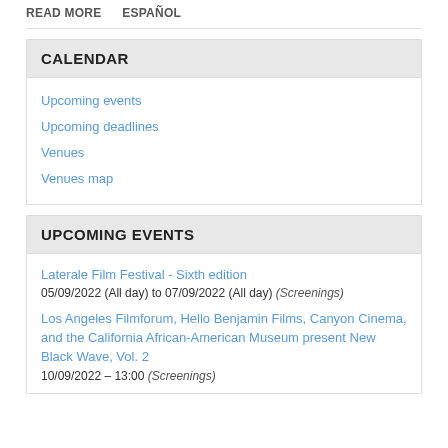READ MORE   ESPAÑOL
CALENDAR
Upcoming events
Upcoming deadlines
Venues
Venues map
UPCOMING EVENTS
Laterale Film Festival - Sixth edition
05/09/2022 (All day) to 07/09/2022 (All day) (Screenings)
Los Angeles Filmforum, Hello Benjamin Films, Canyon Cinema, and the California African-American Museum present New Black Wave, Vol. 2
10/09/2022 – 13:00 (Screenings)